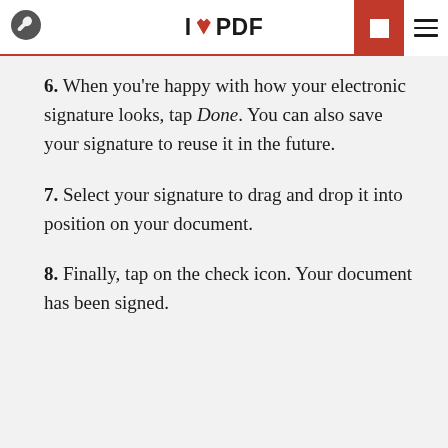ilovepdf
6. When you're happy with how your electronic signature looks, tap Done. You can also save your signature to reuse it in the future.
7. Select your signature to drag and drop it into position on your document.
8. Finally, tap on the check icon. Your document has been signed.